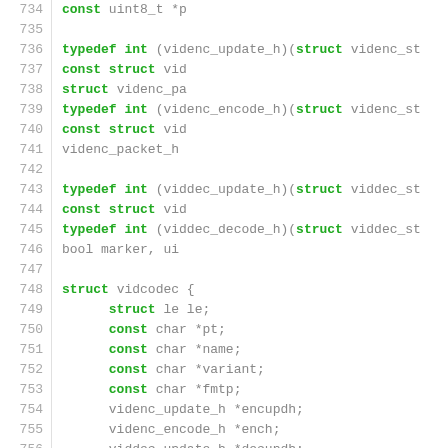[Figure (screenshot): Source code listing in C showing typedef and struct definitions for a video codec, lines 734-763, with syntax highlighting: keywords and type names in bold green, other identifiers in grey.]